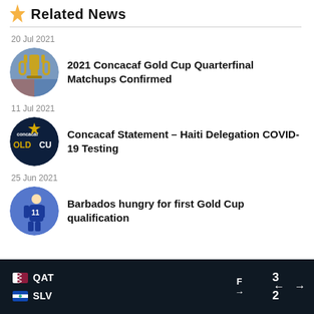Related News
20 Jul 2021
2021 Concacaf Gold Cup Quarterfinal Matchups Confirmed
11 Jul 2021
Concacaf Statement – Haiti Delegation COVID-19 Testing
25 Jun 2021
Barbados hungry for first Gold Cup qualification
QAT 3 F → SLV 2